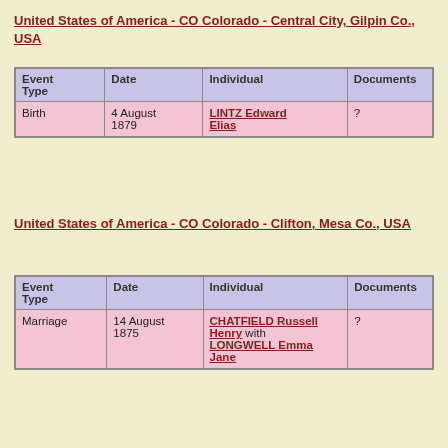United States of America - CO Colorado - Central City, Gilpin Co., USA
| Event Type | Date | Individual | Documents |
| --- | --- | --- | --- |
| Birth | 4 August 1879 | LINTZ Edward Elias | ? |
United States of America - CO Colorado - Clifton, Mesa Co., USA
| Event Type | Date | Individual | Documents |
| --- | --- | --- | --- |
| Marriage | 14 August 1875 | CHATFIELD Russell Henry with LONGWELL Emma Jane | ? |